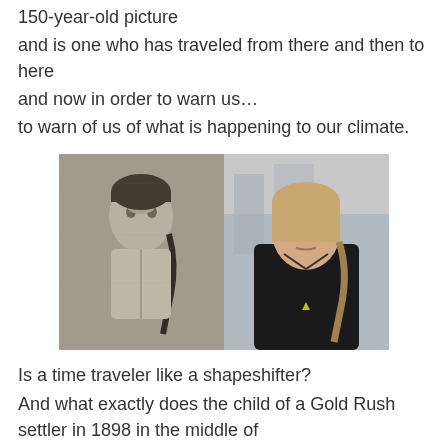150-year-old picture
and is one who has traveled from there and then to here
and now in order to warn us…
to warn of us of what is happening to our climate.
[Figure (photo): Side-by-side comparison of two young girls with braided hair: left is a black-and-white historical photo (circa 1898), right is a modern color photo of a girl in a black jacket.]
Is a time traveler like a shapeshifter?
And what exactly does the child of a Gold Rush settler in 1898 in the middle of
the Yukon understand about climate change?
Yet it appears that there are folks out there who consider